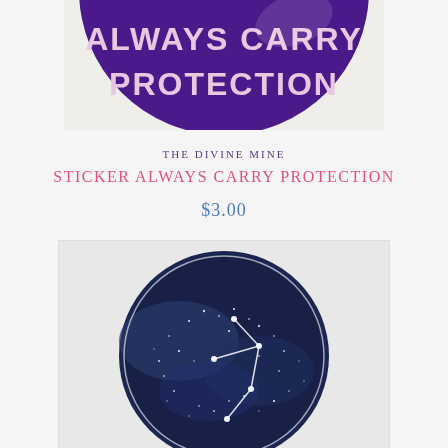[Figure (photo): Circular purple sticker with white text reading 'ALWAYS CARRY PROTECTION', cropped showing the bottom half of the circle on a white background]
THE DIVINE MINE
STICKER ALWAYS CARRY PROTECTION
$3.00
[Figure (photo): Circular sticker with a dark navy blue galaxy/night sky background showing white dots (stars) and a constellation pattern drawn in white lines]